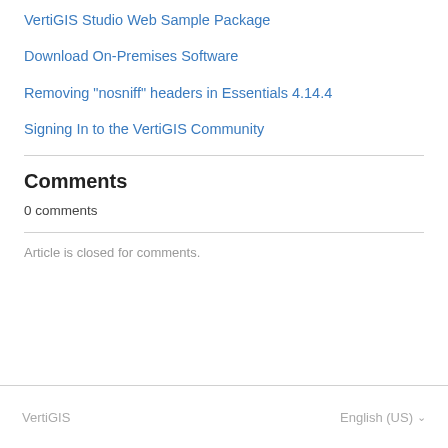VertiGIS Studio Web Sample Package
Download On-Premises Software
Removing "nosniff" headers in Essentials 4.14.4
Signing In to the VertiGIS Community
Comments
0 comments
Article is closed for comments.
VertiGIS    English (US)